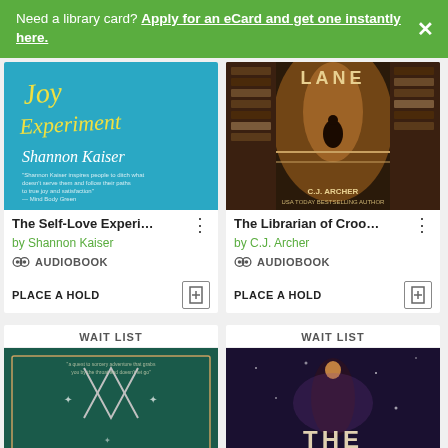Need a library card? Apply for an eCard and get one instantly here.
[Figure (illustration): Book cover for The Self-Love Experiment by Shannon Kaiser — teal background with yellow handwritten title text]
The Self-Love Experi...
by Shannon Kaiser
AUDIOBOOK
PLACE A HOLD
[Figure (illustration): Book cover for The Librarian of Crooked Lane by C.J. Archer — dark library with warm golden light]
The Librarian of Croo...
by C.J. Archer
AUDIOBOOK
PLACE A HOLD
WAIT LIST
[Figure (illustration): Book cover — teal/dark green with crossed axes and star motifs]
WAIT LIST
[Figure (illustration): Book cover — dark cosmic background with figure and THE text visible]